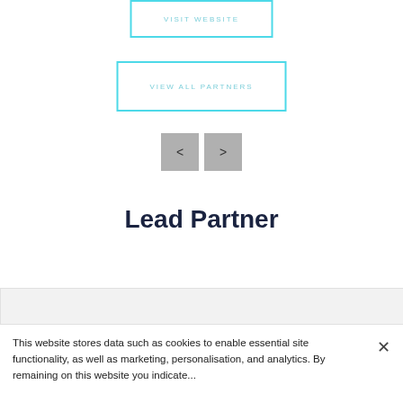VISIT WEBSITE
VIEW ALL PARTNERS
[Figure (other): Navigation previous and next arrow buttons (grey squares with < and > arrows)]
Lead Partner
[Figure (other): Grey/white content area section (partner logo placeholder)]
This website stores data such as cookies to enable essential site functionality, as well as marketing, personalisation, and analytics. By remaining on this website you indicate...